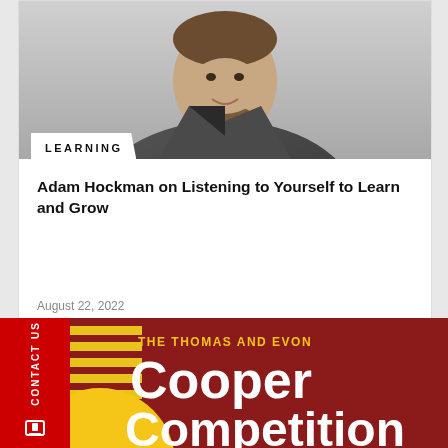[Figure (photo): Portrait photo of a man with beard wearing a dark turtleneck and grey blazer against a light grey background]
LEARNING
Adam Hockman on Listening to Yourself to Learn and Grow
August 22, 2022
[Figure (infographic): The Thomas and Evon Cooper Competition promotional banner with red background, yellow text header, white large text 'Cooper Competition', decorative gold circle and yellow stripes on left side]
CONTACT US